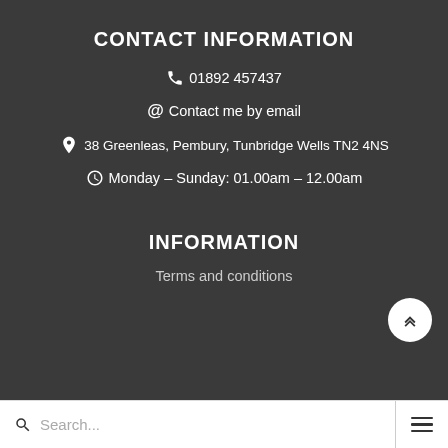CONTACT INFORMATION
📞 01892 457437
@ Contact me by email
📍 38 Greenleas, Pembury, Tunbridge Wells TN2 4NS
🕐 Monday – Sunday: 01.00am – 12.00am
INFORMATION
Terms and conditions
Search...